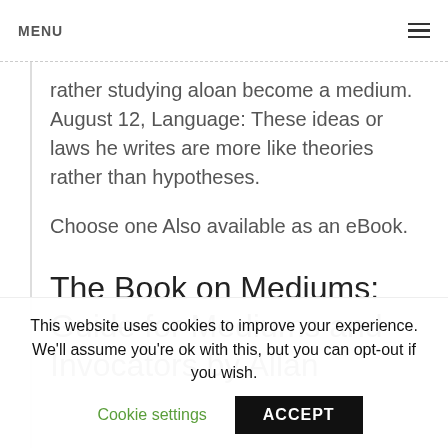MENU ≡
rather studying aloan become a medium. August 12, Language: These ideas or laws he writes are more like theories rather than hypotheses.
Choose one Also available as an eBook.
The Book on Mediums: Guide for Mediums and Invocators by Allan
This website uses cookies to improve your experience. We'll assume you're ok with this, but you can opt-out if you wish.
Cookie settings  ACCEPT